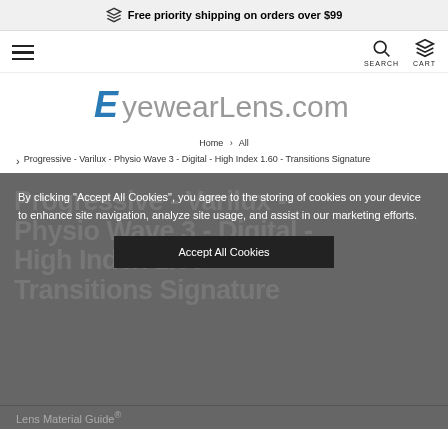Free priority shipping on orders over $99
[Figure (screenshot): Navigation bar with hamburger menu on left and SEARCH/CART icons on right]
[Figure (logo): EyewearLens.com logo with stylized blue E]
Home > All > Progressive - Varilux - Physio Wave 3 - Digital - High Index 1.60 - Transitions Signature
Progressive - Varilux - Physio Wave 3 - Digital - High Index 1.60 - Transitions Signature
By clicking "Accept All Cookies", you agree to the storing of cookies on your device to enhance site navigation, analyze site usage, and assist in our marketing efforts.
Accept All Cookies
Lens Material Guide®